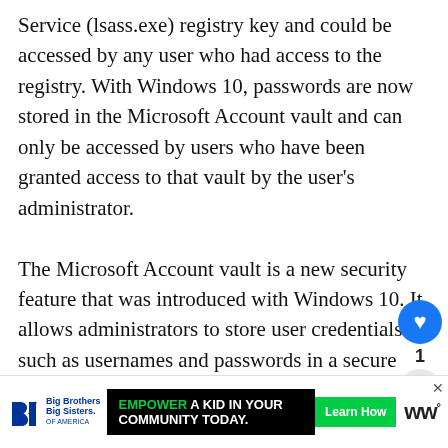Service (lsass.exe) registry key and could be accessed by any user who had access to the registry. With Windows 10, passwords are now stored in the Microsoft Account vault and can only be accessed by users who have been granted access to that vault by the user's administrator.
The Microsoft Account vault is a new security feature that was introduced with Windows 10. It allows administrators to store user credentials such as usernames and passwords in a secure location so they can be used to authenticate users instead of requiring them to remember specific usernames and passwords for different websites and applications.
[Figure (screenshot): UI overlay showing a heart/like button (blue circle with heart icon), count of 1, share button, and a 'WHAT'S NEXT' callout with Windows icon and text 'How do I remove...']
[Figure (screenshot): Advertisement banner: Big Brothers Big Sisters logo, black background ad 'EMPOWER A KID IN YOUR COMMUNITY TODAY.' with green Learn How button, and WW logo]